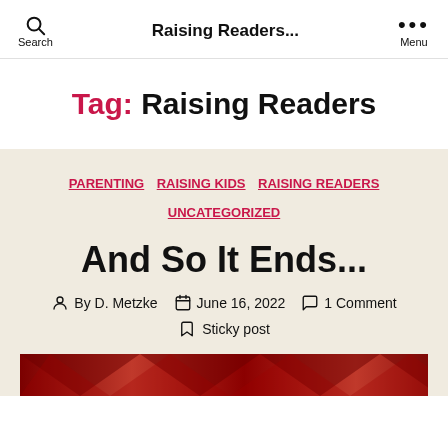Raising Readers...
Tag: Raising Readers
PARENTING  RAISING KIDS  RAISING READERS  UNCATEGORIZED
And So It Ends...
By D. Metzke  June 16, 2022  1 Comment  Sticky post
[Figure (photo): Red decorative image strip at bottom of page]